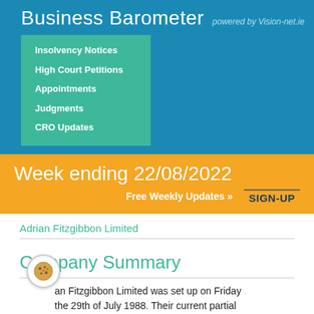Business Barometer powered by Vision-net.ie
Insolvency Notices
High Court Petitions
Appointments
Judgments
CRO Updates
Week ending 22/08/2022
Free Weekly Updates »    SIGN-UP
Adrian Fitzgibbon Limited
Company Summary
Adrian Fitzgibbon Limited was set up on Friday the 29th of July 1988. Their current partial